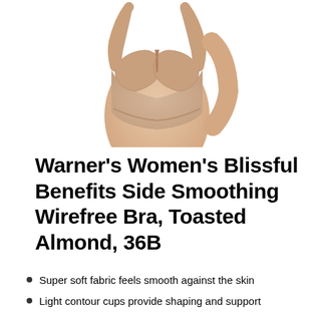[Figure (photo): A woman wearing a nude/toasted almond wirefree bra, showing the front and side view against a white background.]
Warner's Women's Blissful Benefits Side Smoothing Wirefree Bra, Toasted Almond, 36B
Super soft fabric feels smooth against the skin
Light contour cups provide shaping and support